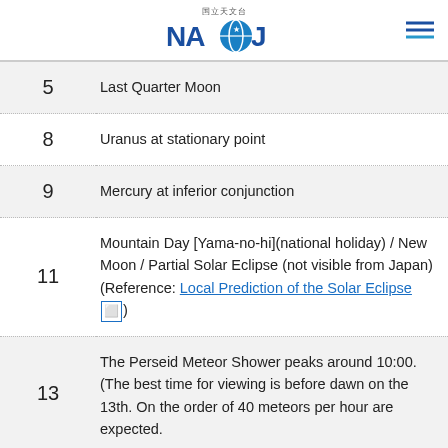NAOJ
5	Last Quarter Moon
8	Uranus at stationary point
9	Mercury at inferior conjunction
11	Mountain Day [Yama-no-hi](national holiday) / New Moon / Partial Solar Eclipse (not visible from Japan) (Reference: Local Prediction of the Solar Eclipse)
13	The Perseid Meteor Shower peaks around 10:00. (The best time for viewing is before dawn on the 13th. On the order of 40 meteors per hour are expected.